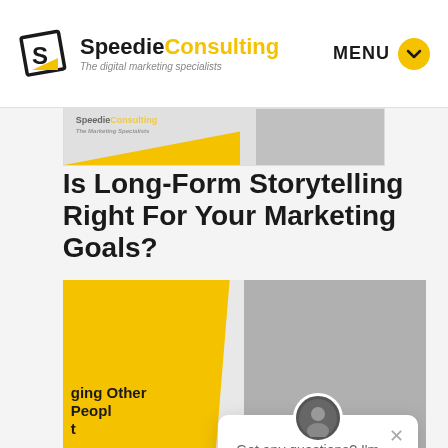[Figure (logo): Speedie Consulting logo with yellow and black S icon and text 'SpeedieConsulting - The digital marketing specialists']
MENU
[Figure (screenshot): Thumbnail preview of Speedie Consulting website header with yellow and gray sections]
Is Long-Form Storytelling Right For Your Marketing Goals?
[Figure (illustration): Article featured image with yellow background, black and white photo, and text 'Engaging Other People's Content' with SpeedieConsulting branding at bottom]
Got any questions? I'm happy to help.